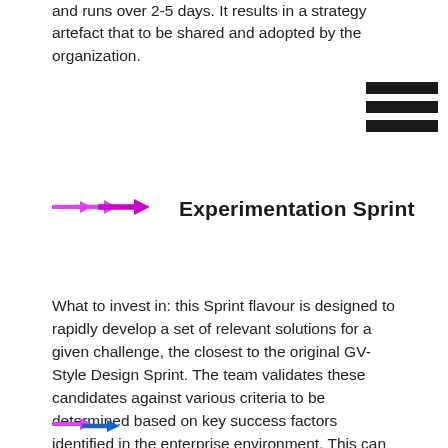and runs over 2-5 days. It results in a strategy artefact that to be shared and adopted by the organization.
[Figure (illustration): Three horizontal black bars (hamburger menu icon)]
Experimentation Sprint
What to invest in: this Sprint flavour is designed to rapidly develop a set of relevant solutions for a given challenge, the closest to the original GV-Style Design Sprint. The team validates these candidates against various criteria to be determined based on key success factors identified in the enterprise environment. This can include fit with the market ecosystem, internal capabilities and operating model, organization or brand culture. It results in validated solutions and a plan for action.
[Figure (illustration): Partial view of colored arrows icon at bottom of page]